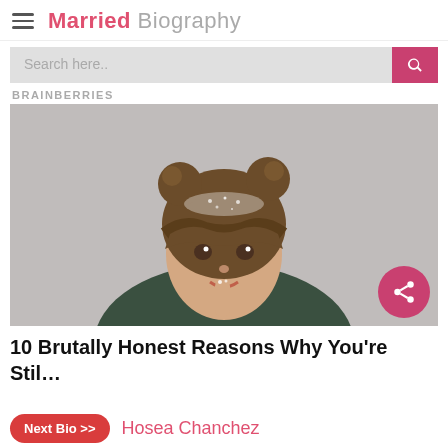Married Biography
Search here..
BRAINBERRIES
[Figure (photo): Young woman with double bun hairstyle with glitter, wearing dark green sweater, finger near mouth, gray background]
10 Brutally Honest Reasons Why You're Stil…
Next Bio >> Hosea Chanchez